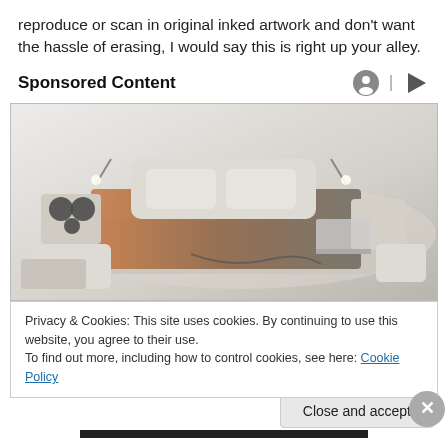reproduce or scan in original inked artwork and don't want the hassle of erasing, I would say this is right up your alley.
Sponsored Content
[Figure (photo): A high-end multi-functional smart bed with built-in speakers, reading lights, storage compartments, a massage chair attachment, and a laptop stand, displayed against a light gray background.]
Privacy & Cookies: This site uses cookies. By continuing to use this website, you agree to their use.
To find out more, including how to control cookies, see here: Cookie Policy
Close and accept